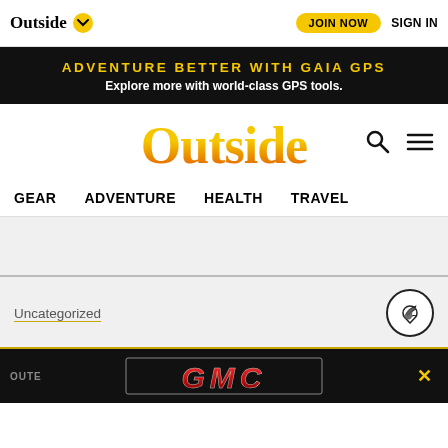Outside ∨ JOIN NOW SIGN IN
ADVENTURE BETTER WITH GAIA GPS
Explore more with world-class GPS tools.
[Figure (logo): Outside magazine main logo in gold/orange gradient script]
GEAR  ADVENTURE  HEALTH  TRAVEL
Uncategorized
[Figure (logo): GMC logo advertisement banner in red metallic text on black background]